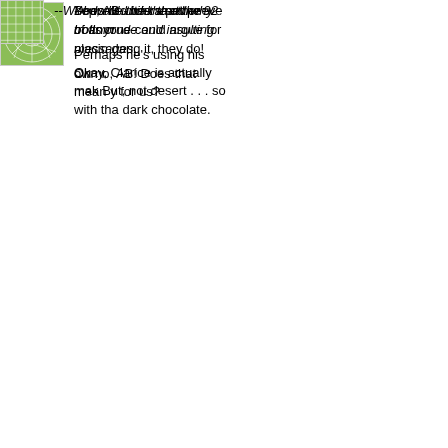[Figure (illustration): Orange square avatar with white line pattern (geometric/network lines)]
Yep, AB - it is a pet peeve of anyone could argue for placin dang it, they do!
Okay, Clarice is actually mak But, not desert . . . so with tha dark chocolate.
[Figure (illustration): Blue square avatar with white geometric leaf/oval pattern]
Does he think that the bottom
Perhaps he's using his own r
[Figure (illustration): Green square avatar with white sunflower/radial pattern]
--I don't understand why trolls crude and insulting messages.
Oh no, AB! Does that mean y for us?
[Figure (illustration): Green square avatar with white grid/square pattern]
--Who would be the other 92-